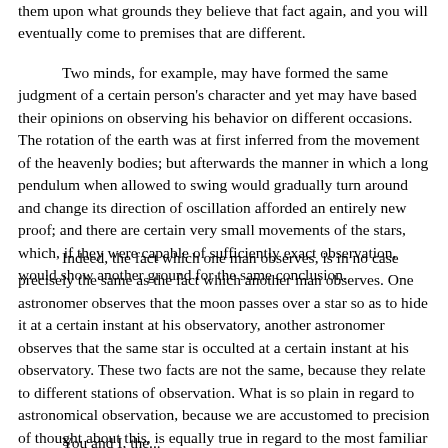them upon what grounds they believe that fact again, and you will eventually come to premises that are different.
Two minds, for example, may have formed the same judgment of a certain person's character and yet may have based their opinions on observing his behavior on different occasions. The rotation of the earth was at first inferred from the movement of the heavenly bodies; but afterwards the manner in which a long pendulum when allowed to swing would gradually turn around and change its direction of oscillation afforded an entirely new proof; and there are certain very small movements of the stars, which, if they were capable of sufficiently exact observation, would show another ground for the same conclusion.
Indeed, the fact which one man observes, is in no case precisely the same as the fact which another man observes. One astronomer observes that the moon passes over a star so as to hide it at a certain instant at his observatory, another astronomer observes that the same star is occulted at a certain instant at his observatory. These two facts are not the same, because they relate to different stations of observation. What is so plain in regard to astronomical observation, because we are accustomed to precision of thought about this, is equally true in regard to the most familiar facts.
You and I, the...